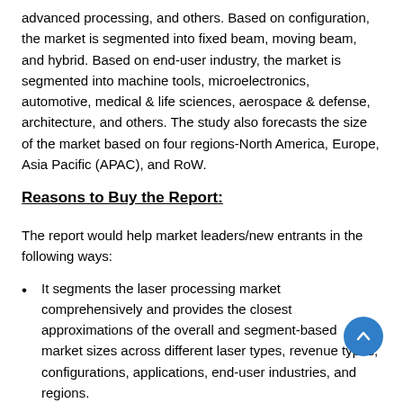advanced processing, and others. Based on configuration, the market is segmented into fixed beam, moving beam, and hybrid. Based on end-user industry, the market is segmented into machine tools, microelectronics, automotive, medical & life sciences, aerospace & defense, architecture, and others. The study also forecasts the size of the market based on four regions-North America, Europe, Asia Pacific (APAC), and RoW.
Reasons to Buy the Report:
The report would help market leaders/new entrants in the following ways:
It segments the laser processing market comprehensively and provides the closest approximations of the overall and segment-based market sizes across different laser types, revenue types, configurations, applications, end-user industries, and regions.
The report would help stakeholders understand the pulse of the market and provide them with information on key drivers, restraints, challenges, and opportunities for the growth of the